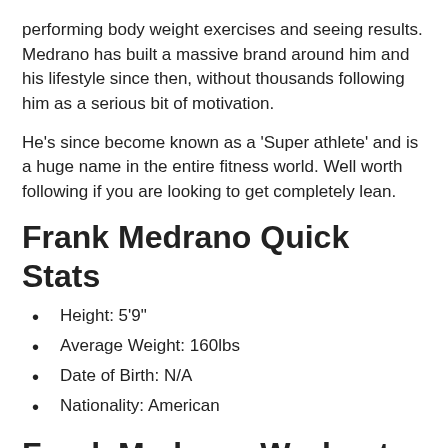performing body weight exercises and seeing results. Medrano has built a massive brand around him and his lifestyle since then, without thousands following him as a serious bit of motivation.
He's since become known as a 'Super athlete' and is a huge name in the entire fitness world. Well worth following if you are looking to get completely lean.
Frank Medrano Quick Stats
Height: 5'9"
Average Weight: 160lbs
Date of Birth: N/A
Nationality: American
Frank Medrano Workout
[Figure (photo): Placeholder image for Frank-Medrano-Workout photo]